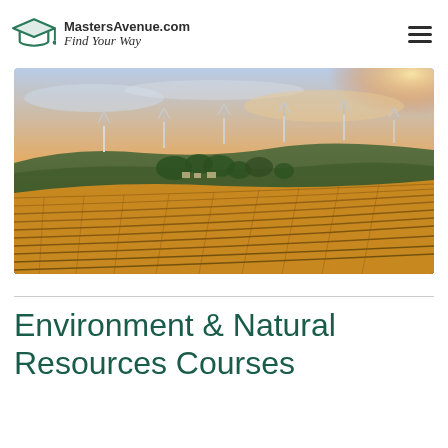MastersAvenue.com — Find Your Way
[Figure (photo): Aerial landscape photo of rolling vineyard fields with wind turbines on a hilltop at sunset, warm golden and orange sky tones, village visible in the background.]
Environment & Natural Resources Courses